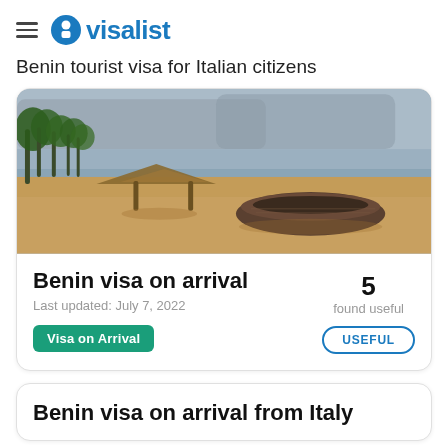visalist
Benin tourist visa for Italian citizens
[Figure (photo): Beach scene in Benin with sandy shore, a thatched umbrella hut, palm trees in the background, an old wooden boat on the sand, and an overcast sky.]
Benin visa on arrival
Last updated: July 7, 2022
Visa on Arrival
5 found useful
USEFUL
Benin visa on arrival from Italy